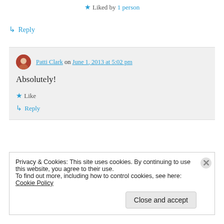★ Liked by 1 person
↳ Reply
Patti Clark on June 1, 2013 at 5:02 pm — Absolutely!
★ Like
↳ Reply
Privacy & Cookies: This site uses cookies. By continuing to use this website, you agree to their use.
To find out more, including how to control cookies, see here: Cookie Policy
Close and accept